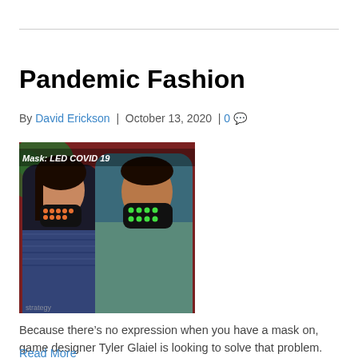Pandemic Fashion
By David Erickson | October 13, 2020 | 0
[Figure (photo): Two people wearing LED COVID-19 face masks. Text overlay reads 'Mask: LED COVID 19'. The woman on the left wears a mask with orange/red LED dots; the man on the right wears a mask with green LED dots. Background is dark red/maroon wall with foliage on left.]
Because there’s no expression when you have a mask on, game designer Tyler Glaiel is looking to solve that problem.
Read More